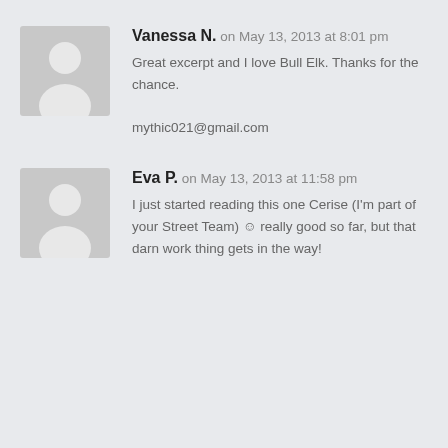[Figure (illustration): Gray placeholder avatar icon with silhouette of a person, square with rounded appearance]
Vanessa N. on May 13, 2013 at 8:01 pm
Great excerpt and I love Bull Elk. Thanks for the chance.

mythic021@gmail.com
[Figure (illustration): Gray placeholder avatar icon with silhouette of a person, square with rounded appearance]
Eva P. on May 13, 2013 at 11:58 pm
I just started reading this one Cerise (I'm part of your Street Team) ☺ really good so far, but that darn work thing gets in the way!